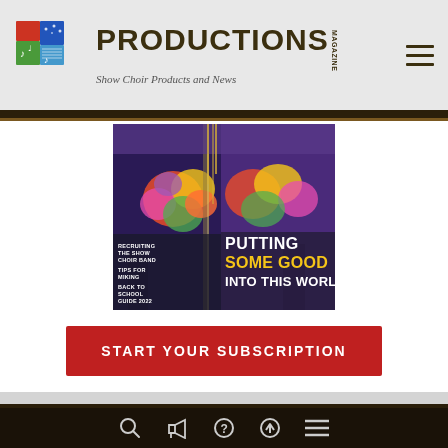[Figure (logo): Productions Magazine logo with colorful squares icon and tagline 'Show Choir Products and News']
[Figure (photo): Magazine cover showing performers with flowers, text: RECRUITING THE SHOW CHOIR BAND, TIPS FOR MIKING, BACK TO SCHOOL GUIDE 2022, PUTTING SOME GOOD INTO THIS WORLD]
START YOUR SUBSCRIPTION
SPECIALIZING IN CREATING
MUSIC TO YOUR EARS